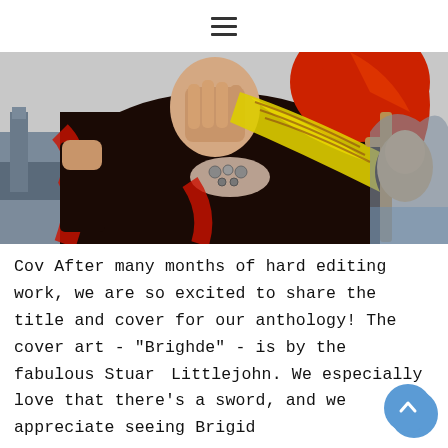≡ (hamburger menu icon)
[Figure (illustration): A painting titled 'Brighde' showing a figure in a dark cloak with red hair, wearing a jeweled necklace, with a sword and decorative elements visible, and red fabric draped across the composition. Background includes castle/landscape elements.]
Cov After many months of hard editing work, we are so excited to share the title and cover for our anthology! The cover art - "Brighde" - is by the fabulous Stuart Littlejohn. We especially love that there's a sword, and we appreciate seeing Brigid